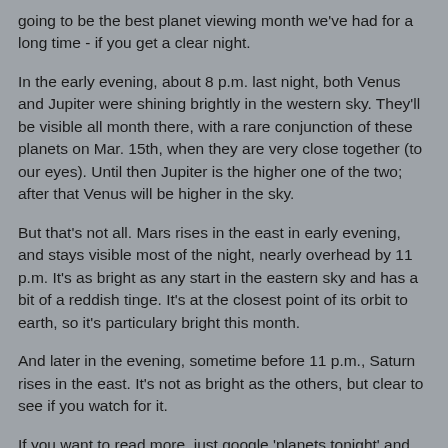going to be the best planet viewing month we've had for a long time - if you get a clear night.
In the early evening, about 8 p.m. last night, both Venus and Jupiter were shining brightly in the western sky. They'll be visible all month there, with a rare conjunction of these planets on Mar. 15th, when they are very close together (to our eyes). Until then Jupiter is the higher one of the two; after that Venus will be higher in the sky.
But that's not all. Mars rises in the east in early evening, and stays visible most of the night, nearly overhead by 11 p.m. It's as bright as any start in the eastern sky and has a bit of a reddish tinge. It's at the closest point of its orbit to earth, so it's particulary bright this month.
And later in the evening, sometime before 11 p.m., Saturn rises in the east. It's not as bright as the others, but clear to see if you watch for it.
If you want to read more, just google 'planets tonight' and read about it. But watch for a clear evening, and take